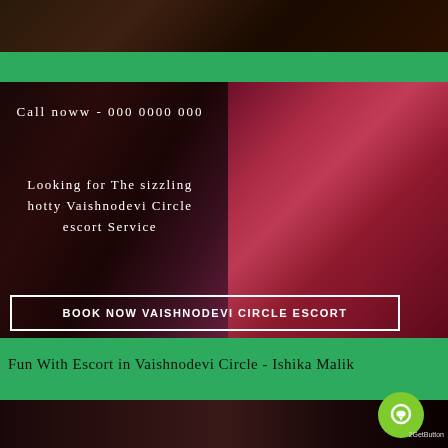[Figure (photo): Top banner image, dark toned photo]
[Figure (photo): Large background photo with woman in red lingerie on dark background]
Call noww - 000 0000 000
Looking for The sizzling hotty Vaishnodevi Circle escort Service
BOOK NOW VAISHNODEVI CIRCLE ESCORT
Fun With Escort in Vaishnodevi Circle - Ishika Malik
[Figure (photo): Bottom photo showing group of women]